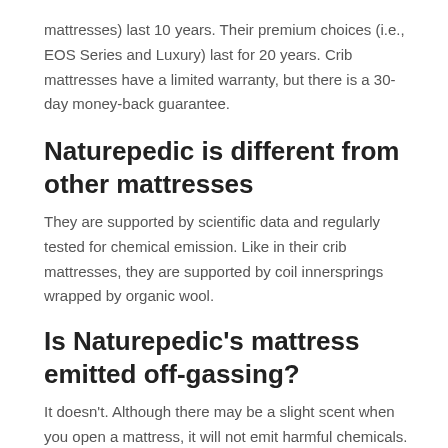mattresses) last 10 years. Their premium choices (i.e., EOS Series and Luxury) last for 20 years. Crib mattresses have a limited warranty, but there is a 30-day money-back guarantee.
Naturepedic is different from other mattresses
They are supported by scientific data and regularly tested for chemical emission. Like in their crib mattresses, they are supported by coil innersprings wrapped by organic wool.
Is Naturepedic's mattress emitted off-gassing?
It doesn't. Although there may be a slight scent when you open a mattress, it will not emit harmful chemicals. Organic material is used to make the mattress. Mattresses that are not made out of those materials could emit it.